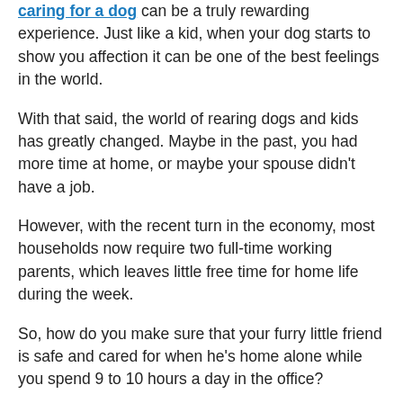caring for a dog can be a truly rewarding experience. Just like a kid, when your dog starts to show you affection it can be one of the best feelings in the world.
With that said, the world of rearing dogs and kids has greatly changed. Maybe in the past, you had more time at home, or maybe your spouse didn't have a job.
However, with the recent turn in the economy, most households now require two full-time working parents, which leaves little free time for home life during the week.
So, how do you make sure that your furry little friend is safe and cared for when he's home alone while you spend 9 to 10 hours a day in the office?
Tire out your friend